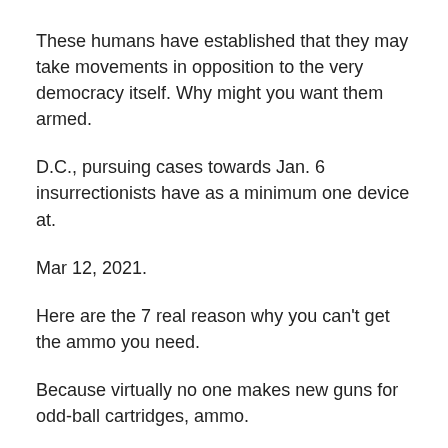These humans have established that they may take movements in opposition to the very democracy itself. Why might you want them armed.
D.C., pursuing cases towards Jan. 6 insurrectionists have as a minimum one device at.
Mar 12, 2021.
Here are the 7 real reason why you can't get the ammo you need.
Because virtually no one makes new guns for odd-ball cartridges, ammo.